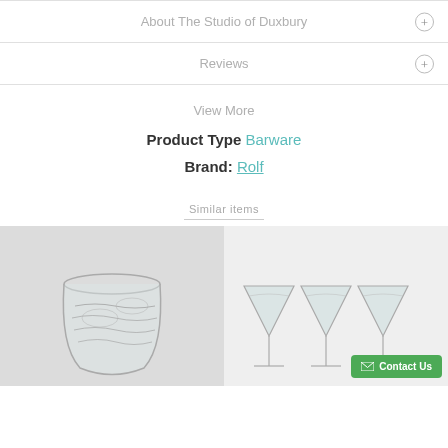About The Studio of Duxbury
Reviews
View More
Product Type Barware
Brand: Rolf
Similar items
[Figure (photo): Clear stemless wine glass with etched fish/wave pattern design, shown on light gray background.]
[Figure (photo): Multiple clear martini glasses with etched pattern, arranged in a row, with a green Contact Us button overlay.]